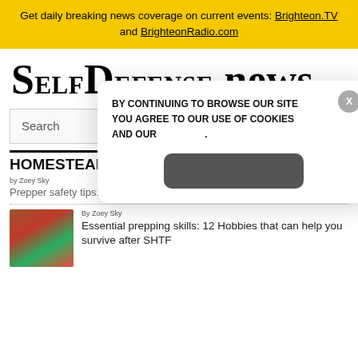Get daily breaking news coverage on current events: Brighteon.TV and BrighteonRadio.com
SelfDefense.news
Search
HOMESTEADING
BY CONTINUING TO BROWSE OUR SITE YOU AGREE TO OUR USE OF COOKIES AND AND OUR .
by Zoey Sky
Prepper safety tips: 10 Ways to protect your home fr...
By Zoey Sky
Essential prepping skills: 12 Hobbies that can help you survive after SHTF